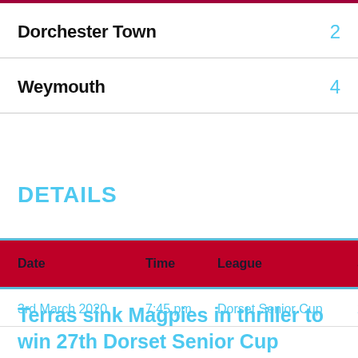Dorchester Town   2
Weymouth   4
DETAILS
| Date | Time | League | Sea |
| --- | --- | --- | --- |
| 3rd March 2020 | 7:45 pm | Dorset Senior Cup | 2019 |
Terras sink Magpies in thriller to win 27th Dorset Senior Cup